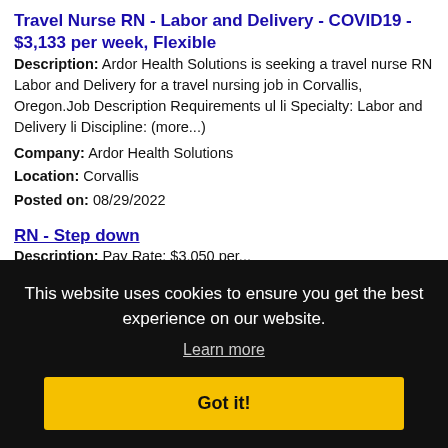Travel Nurse RN - Labor and Delivery - COVID19 - $3,133 per week, Flexible
Description: Ardor Health Solutions is seeking a travel nurse RN Labor and Delivery for a travel nursing job in Corvallis, Oregon.Job Description Requirements ul li Specialty: Labor and Delivery li Discipline: (more...)
Company: Ardor Health Solutions
Location: Corvallis
Posted on: 08/29/2022
RN - Step down
Description: Pay Rate: $3,050 per Ident... st 2
[Figure (screenshot): Cookie consent banner overlay with black background. Text: 'This website uses cookies to ensure you get the best experience on our website.' with 'Learn more' link and 'Got it!' yellow button.]
: ul li k. li Set up shift using the FOH and BOH logs, make station assignment